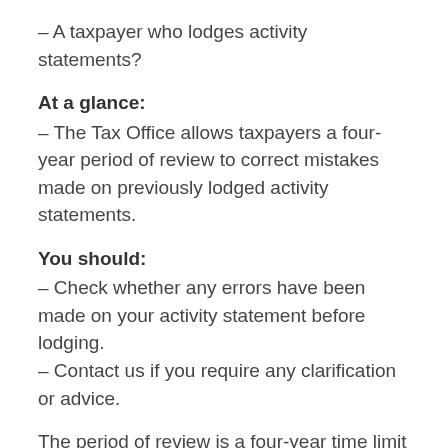– A taxpayer who lodges activity statements?
At a glance:
– The Tax Office allows taxpayers a four-year period of review to correct mistakes made on previously lodged activity statements.
You should:
– Check whether any errors have been made on your activity statement before lodging.
– Contact us if you require any clarification or advice.
The period of review is a four-year time limit for taxpayers to amend or revise activity statements for tax periods on or after July 1, 2012.